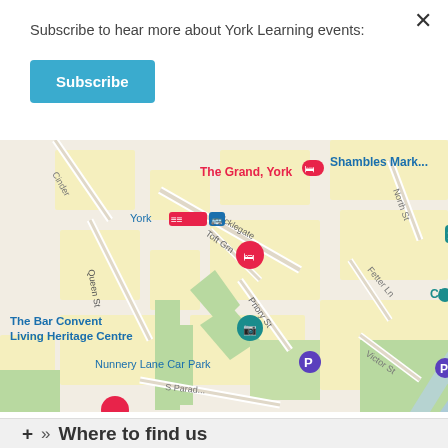Subscribe to hear more about York Learning events:
Subscribe
[Figure (map): Google Maps view of central York, UK showing landmarks: The Grand York, JORVIK Viking Centre, Clifford's Tower York, The Bar Convent Living Heritage Centre, Nunnery Lane Car Park, St George's Field Car Park, York train/bus station, Shambles Market, streets: Queen St, Micklegate, Priory St, Toft Grn, North St, Fetter Ln, Victor St, S Parade, Cinder]
+ » Where to find us
+ »